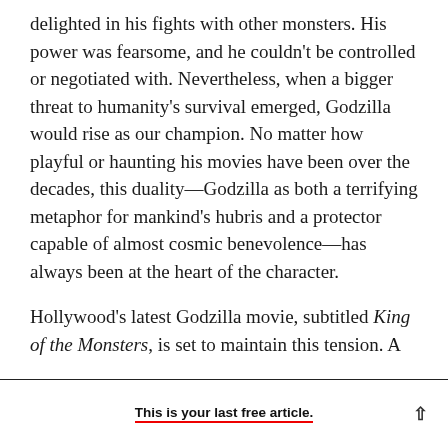delighted in his fights with other monsters. His power was fearsome, and he couldn't be controlled or negotiated with. Nevertheless, when a bigger threat to humanity's survival emerged, Godzilla would rise as our champion. No matter how playful or haunting his movies have been over the decades, this duality—Godzilla as both a terrifying metaphor for mankind's hubris and a protector capable of almost cosmic benevolence—has always been at the heart of the character.
Hollywood's latest Godzilla movie, subtitled King of the Monsters, is set to maintain this tension. A
This is your last free article.